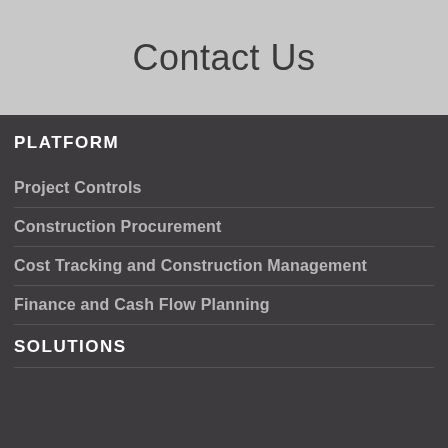Contact Us
PLATFORM
Project Controls
Construction Procurement
Cost Tracking and Construction Management
Finance and Cash Flow Planning
SOLUTIONS